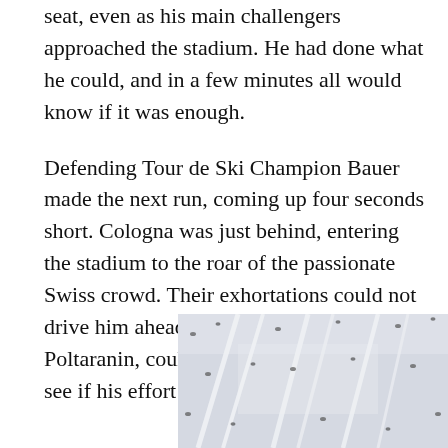seat, even as his main challengers approached the stadium. He had done what he could, and in a few minutes all would know if it was enough.
Defending Tour de Ski Champion Bauer made the next run, coming up four seconds short. Cologna was just behind, entering the stadium to the roar of the passionate Swiss crowd. Their exhortations could not drive him ahead of Bauer, and he, like Poltaranin, could only wait for Legkov to see if his effort was worth a podium spot.
[Figure (photo): A snow-covered ski track or trail viewed from above, with ski tracks visible as white lines and small dark figures of skiers scattered across the snowy surface.]